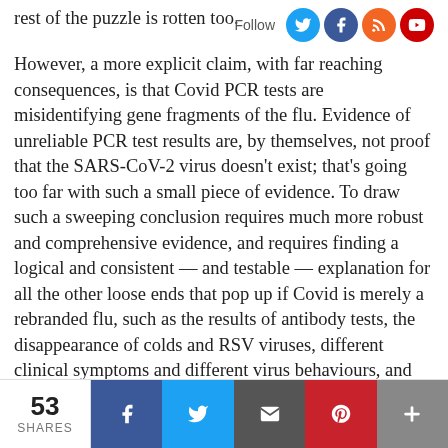rest of the puzzle is rotten too.
However, a more explicit claim, with far reaching consequences, is that Covid PCR tests are misidentifying gene fragments of the flu. Evidence of unreliable PCR test results are, by themselves, not proof that the SARS-CoV-2 virus doesn't exist; that's going too far with such a small piece of evidence. To draw such a sweeping conclusion requires much more robust and comprehensive evidence, and requires finding a logical and consistent — and testable — explanation for all the other loose ends that pop up if Covid is merely a rebranded flu, such as the results of antibody tests, the disappearance of colds and RSV viruses, different clinical symptoms and different virus behaviours, and evidence (or lack thereof) of cover-ups among lab technicians and other scientists who would have to do the dirty work of rebranding flu as Covid. No matter how plausible an explanation sounds, it requires hard evidence to separate it from speculation.
53 SHARES | Facebook | Twitter | Email | Pinterest | +